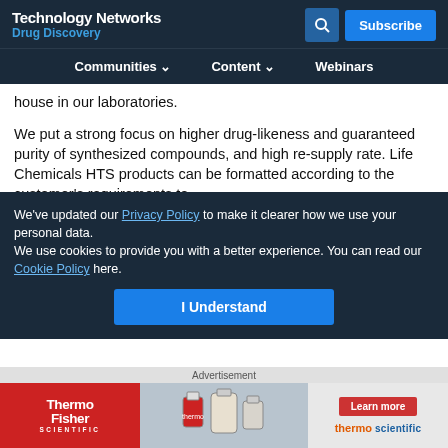Technology Networks Drug Discovery
Communities  Content  Webinars
house in our laboratories.
We put a strong focus on higher drug-likeness and guaranteed purity of synthesized compounds, and high re-supply rate. Life Chemicals HTS products can be formatted according to the customer's requirements to
We've updated our Privacy Policy to make it clearer how we use your personal data.
We use cookies to provide you with a better experience. You can read our Cookie Policy here.
where our bright team carry on ingenious and pioneering research that enable us to expand the catalog annually with over 25,000 original
Advertisement
[Figure (screenshot): Thermo Fisher Scientific advertisement banner]